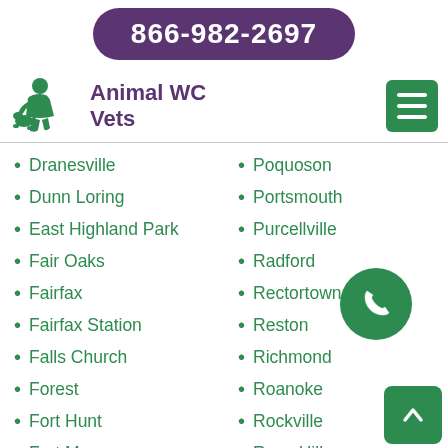866-982-2697
Animal WC Vets
Dranesville
Dunn Loring
East Highland Park
Fair Oaks
Fairfax
Fairfax Station
Falls Church
Forest
Fort Hunt
Fort Myer
Franconia
Franklin Farm
Fredericksburg
Poquoson
Portsmouth
Purcellville
Radford
Rectortown
Reston
Richmond
Roanoke
Rockville
Rose Hill
Round Hill
Salem
Sandston